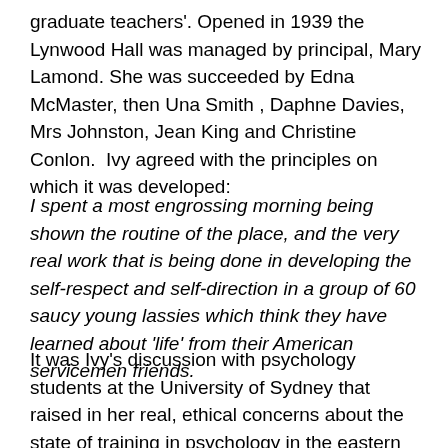graduate teachers'. Opened in 1939 the Lynwood Hall was managed by principal, Mary Lamond. She was succeeded by Edna McMaster, then Una Smith , Daphne Davies, Mrs Johnston, Jean King and Christine Conlon.  Ivy agreed with the principles on which it was developed:
I spent a most engrossing morning being shown the routine of the place, and the very real work that is being done in developing the self-respect and self-direction in a group of 60 saucy young lassies which think they have learned about 'life' from their American servicemen friends.
It was Ivy's discussion with psychology students at the University of Sydney that raised in her real, ethical concerns about the state of training in psychology in the eastern states. She listened to their disappointment with the course developed by Dr A H Martin assistant to